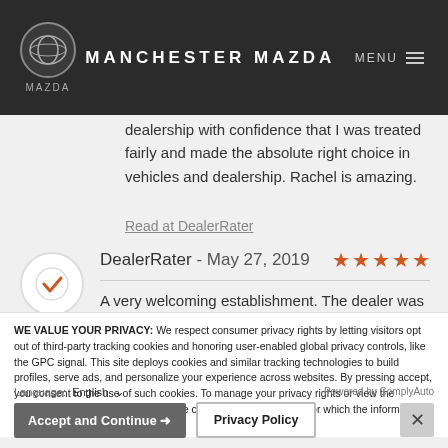MANCHESTER MAZDA
dealership with confidence that I was treated fairly and made the absolute right choice in vehicles and dealership. Rachel is amazing.
Read at DealerRater
DealerRater - May 27, 2019
A very welcoming establishment. The dealer was very helpful and nice. The car runs smoothly and I am happy about the price.
WE VALUE YOUR PRIVACY: We respect consumer privacy rights by letting visitors opt out of third-party tracking cookies and honoring user-enabled global privacy controls, like the GPC signal. This site deploys cookies and similar tracking technologies to build profiles, serve ads, and personalize your experience across websites. By pressing accept, you consent to the use of such cookies. To manage your privacy rights or view the categories of personal information we collect and the purposes for which the information is used, click here.
Language: English
Powered by ComplyAuto